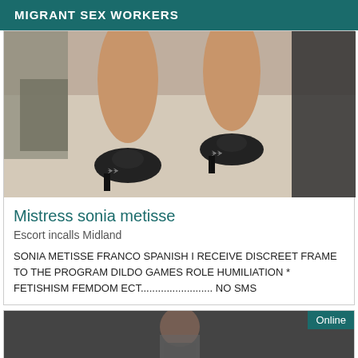MIGRANT SEX WORKERS
[Figure (photo): Close-up photo of a person's legs and feet wearing dark patterned high-heel shoes, standing on a light-colored carpet with bags visible in the background.]
Mistress sonia metisse
Escort incalls Midland
SONIA METISSE FRANCO SPANISH I RECEIVE DISCREET FRAME TO THE PROGRAM DILDO GAMES ROLE HUMILIATION * FETISHISM FEMDOM ECT......................... NO SMS
[Figure (photo): Partial photo of a person in a dark outfit, with an 'Online' badge in the top right corner.]